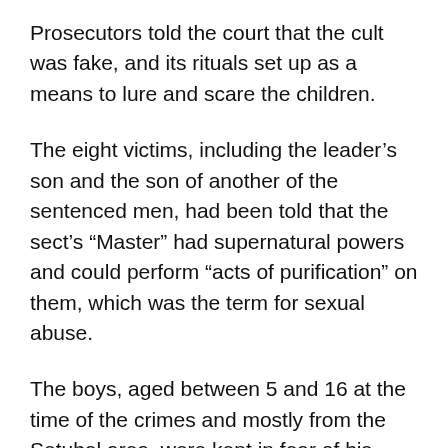Prosecutors told the court that the cult was fake, and its rituals set up as a means to lure and scare the children.
The eight victims, including the leader’s son and the son of another of the sentenced men, had been told that the sect’s “Master” had supernatural powers and could perform “acts of purification” on them, which was the term for sexual abuse.
The boys, aged between 5 and 16 at the time of the crimes and mostly from the Setubal area, were kept in fear of his powers so they never disclosed what happened to anyone.